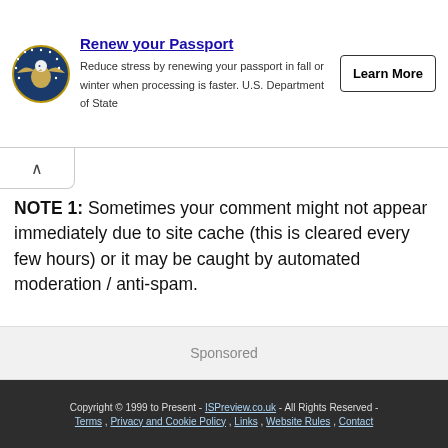[Figure (infographic): US Department of State passport renewal advertisement banner with eagle seal logo, title 'Renew your Passport', description text, and 'Learn More' button]
NOTE 1: Sometimes your comment might not appear immediately due to site cache (this is cleared every few hours) or it may be caught by automated moderation / anti-spam.
NOTE 2: Comments that break our rules, spam, troll or post via known fake IP/proxy servers may be blocked or removed.
Sponsored
Copyright © 1999 to Present - ISPreview.co.uk - All Rights Reserved - Terms , Privacy and Cookie Policy , Links , Website Rules , Contact